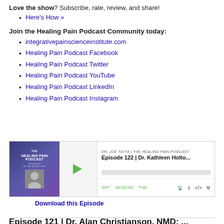Love the show? Subscribe, rate, review, and share!
Here's How »
Join the Healing Pain Podcast Community today:
integrativepainscienceinstitute.com
Healing Pain Podcast Facebook
Healing Pain Podcast Twitter
Healing Pain Podcast YouTube
Healing Pain Podcast LinkedIn
Healing Pain Podcast Instagram
[Figure (screenshot): Audio player widget for Episode 122 | Dr. Kathleen Holto... of The Healing Pain Podcast by Dr. Joe Tatta, showing play button, progress bar, and controls at 00:00:00]
Download this Episode
Episode 121 | Dr. Alan Christianson, NMD: ...